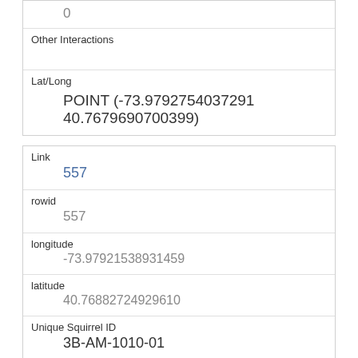| Field | Value |
| --- | --- |
|  | 0 |
| Other Interactions |  |
| Lat/Long | POINT (-73.9792754037291 40.7679690700399) |
| Field | Value |
| --- | --- |
| Link | 557 |
| rowid | 557 |
| longitude | -73.97921538931459 |
| latitude | 40.76882724929610 |
| Unique Squirrel ID | 3B-AM-1010-01 |
| Hectare | 03B |
| Shift | AM |
| Date |  |